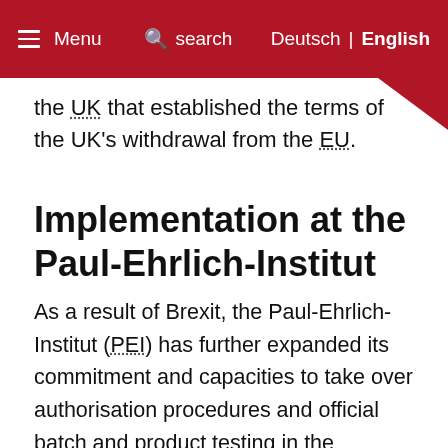Menu  search  Deutsch | English
the UK that established the terms of the UK's withdrawal from the EU.
Implementation at the Paul-Ehrlich-Institut
As a result of Brexit, the Paul-Ehrlich-Institut (PEI) has further expanded its commitment and capacities to take over authorisation procedures and official batch and product testing in the European network of medicines authorities. The Paul-Ehrlich-Institut has also intensified its activities in the areas of clinical trial